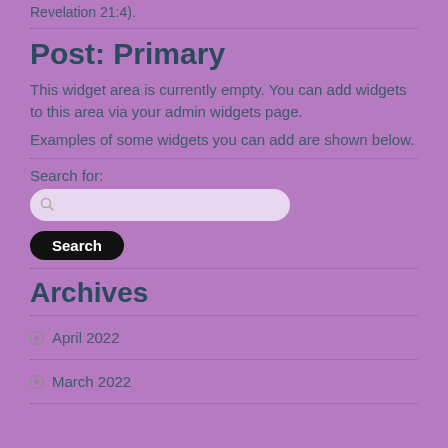Revelation 21:4).
Post: Primary
This widget area is currently empty. You can add widgets to this area via your admin widgets page.
Examples of some widgets you can add are shown below.
Search for:
Archives
April 2022
March 2022